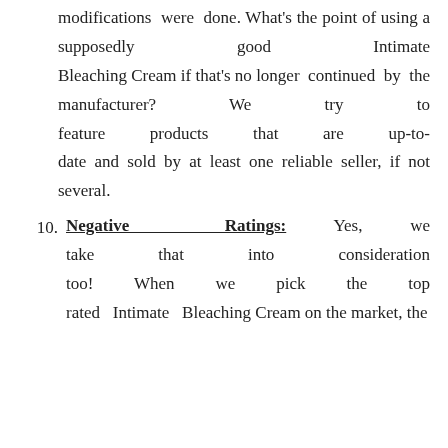modifications were done. What's the point of using a supposedly good Intimate Bleaching Cream if that's no longer continued by the manufacturer? We try to feature products that are up-to-date and sold by at least one reliable seller, if not several.
10. Negative Ratings: Yes, we take that into consideration too! When we pick the top rated Intimate Bleaching Cream on the market, the